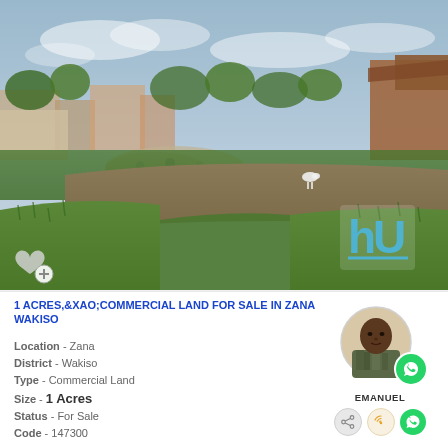[Figure (photo): Outdoor photograph of a vacant land plot in Zana Wakiso, Uganda. Shows a large cleared dirt area with green grass, surrounded by residential buildings, trees, and a goat in the middle distance. Overcast sky. Blue watermark logo (stylized HU) visible in lower right of photo. Heart/favorite icon in lower left.]
1 ACRES,&XAO;COMMERCIAL LAND FOR SALE IN ZANA WAKISO
Location - Zana
District - Wakiso
Type - Commercial Land
Size - 1 Acres
Status - For Sale
Code - 147300
[Figure (photo): Circular profile photo of agent Emanuel, an African man wearing a camouflage jacket. Accompanied by a green WhatsApp button and social sharing/call icons below.]
EMANUEL